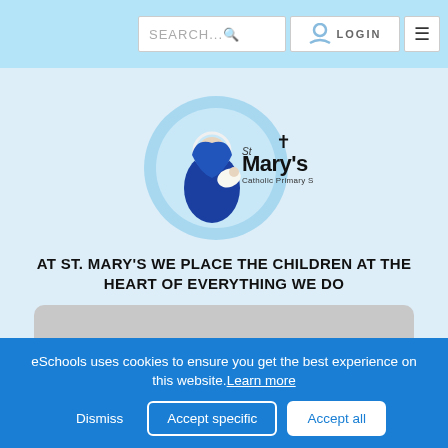SEARCH... LOGIN [menu]
[Figure (logo): St Mary's Catholic Primary School circular logo with blue background showing a figure of Mary holding baby Jesus, with a cross above the text]
AT ST. MARY'S WE PLACE THE CHILDREN AT THE HEART OF EVERYTHING WE DO
[Figure (photo): Grey placeholder image card]
eSchools uses cookies to ensure you get the best experience on this website. Learn more
Dismiss  Accept specific  Accept all